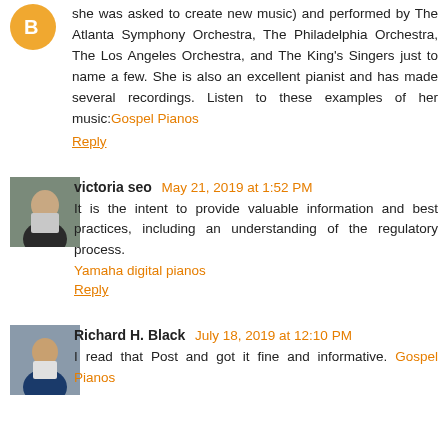she was asked to create new music) and performed by The Atlanta Symphony Orchestra, The Philadelphia Orchestra, The Los Angeles Orchestra, and The King's Singers just to name a few. She is also an excellent pianist and has made several recordings. Listen to these examples of her music:Gospel Pianos
Reply
victoria seo May 21, 2019 at 1:52 PM
It is the intent to provide valuable information and best practices, including an understanding of the regulatory process.
Yamaha digital pianos
Reply
Richard H. Black July 18, 2019 at 12:10 PM
I read that Post and got it fine and informative. Gospel Pianos